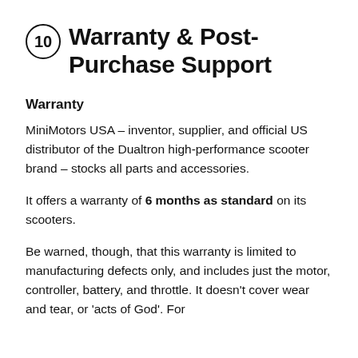10 Warranty & Post-Purchase Support
Warranty
MiniMotors USA – inventor, supplier, and official US distributor of the Dualtron high-performance scooter brand – stocks all parts and accessories.
It offers a warranty of 6 months as standard on its scooters.
Be warned, though, that this warranty is limited to manufacturing defects only, and includes just the motor, controller, battery, and throttle. It doesn't cover wear and tear, or 'acts of God'. For